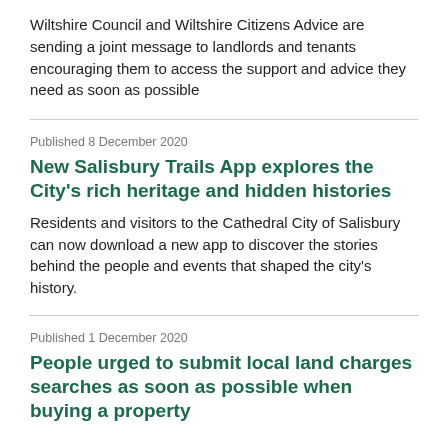Wiltshire Council and Wiltshire Citizens Advice are sending a joint message to landlords and tenants encouraging them to access the support and advice they need as soon as possible
Published 8 December 2020
New Salisbury Trails App explores the City's rich heritage and hidden histories
Residents and visitors to the Cathedral City of Salisbury can now download a new app to discover the stories behind the people and events that shaped the city's history.
Published 1 December 2020
People urged to submit local land charges searches as soon as possible when buying a property